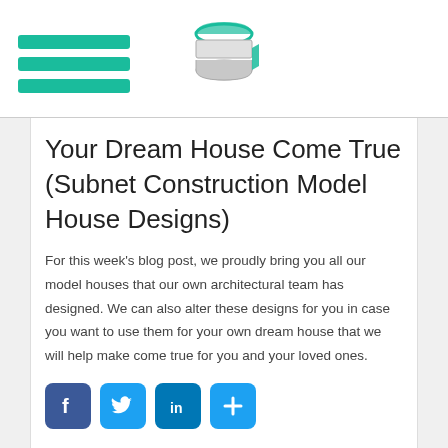Hamburger menu icon and logo
Your Dream House Come True (Subnet Construction Model House Designs)
For this week’s blog post, we proudly bring you all our model houses that our own architectural team has designed. We can also alter these designs for you in case you want to use them for your own dream house that we will help make come true for you and your loved ones.
[Figure (infographic): Social share buttons: Facebook, Twitter, LinkedIn, and a plus/more button]